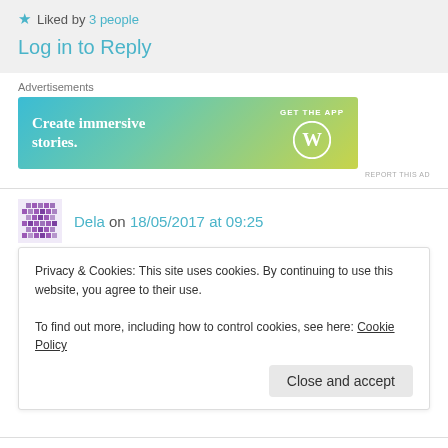★ Liked by 3 people
Log in to Reply
Advertisements
[Figure (illustration): WordPress advertisement banner: 'Create immersive stories. GET THE APP' with WordPress logo on gradient blue-green-yellow background]
Dela on 18/05/2017 at 09:25
👍 0 👎 0 ℹ Rate This
Halo. salam kenal. Suka sekali membaca
Privacy & Cookies: This site uses cookies. By continuing to use this website, you agree to their use.
To find out more, including how to control cookies, see here: Cookie Policy
Close and accept